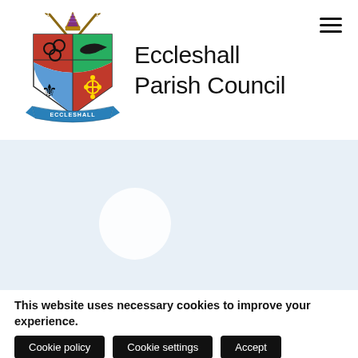[Figure (logo): Eccleshall Parish Council coat of arms / shield logo with bishop's mitre and crossed staffs at top, divided shield with red, green, blue and red quarters containing various symbols, blue banner at bottom reading ECCLESHALL]
Eccleshall Parish Council
[Figure (other): Light blue/grey hero banner area with a white circle/loading indicator in the center]
This website uses necessary cookies to improve your experience.
Cookie policy
Cookie settings
Accept